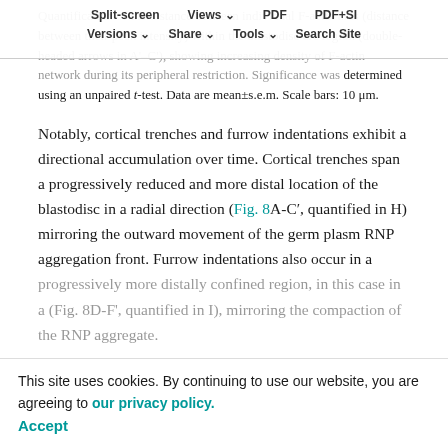Split-screen  Views  PDF  PDF+SI  Versions  Share  Tools  Search Site
Quantification of the distance between individual F-actin arcs (distance between their peak intensity) within the blastodisc arc region (double-headed arrows in A'–C'), showing increasing density of F-actin network during its peripheral restriction. Significance was determined using an unpaired t-test. Data are mean±s.e.m. Scale bars: 10 μm.
Notably, cortical trenches and furrow indentations exhibit a directional accumulation over time. Cortical trenches span a progressively reduced and more distal location of the blastodisc in a radial direction (Fig. 8A-C', quantified in H) mirroring the outward movement of the germ plasm RNP aggregation front. Furrow indentations also occur in a progressively more distally confined region, in this case in a (Fig. 8D-F', quantified in I), mirroring the compaction of the RNP aggregate.
This site uses cookies. By continuing to use our website, you are agreeing to our privacy policy.
Accept